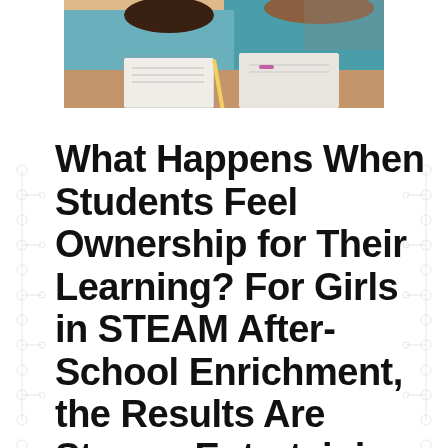[Figure (photo): Photograph of students (girls) sitting at a desk, writing/working, viewed from above/side angle. Classroom setting.]
What Happens When Students Feel Ownership for Their Learning? For Girls in STEAM After-School Enrichment, the Results Are Strong, Entertaining & Memorable